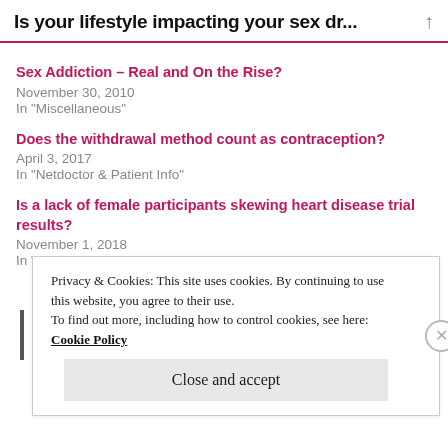Is your lifestyle impacting your sex dr...
Sex Addiction – Real and On the Rise?
November 30, 2010
In "Miscellaneous"
Does the withdrawal method count as contraception?
April 3, 2017
In "Netdoctor & Patient Info"
Is a lack of female participants skewing heart disease trial results?
November 1, 2018
In "Pharma & drug development"
Privacy & Cookies: This site uses cookies. By continuing to use this website, you agree to their use.
To find out more, including how to control cookies, see here: Cookie Policy
Close and accept